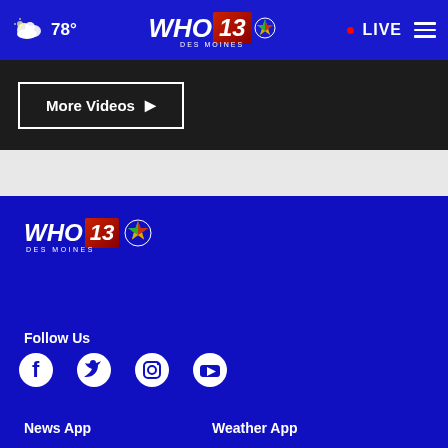WHO 13 Des Moines — 78° — LIVE
More Videos ▶
[Figure (logo): WHO 13 Des Moines NBC logo in footer]
Follow Us
[Figure (illustration): Social media icons: Facebook, Twitter, Instagram, YouTube]
News App
Weather App